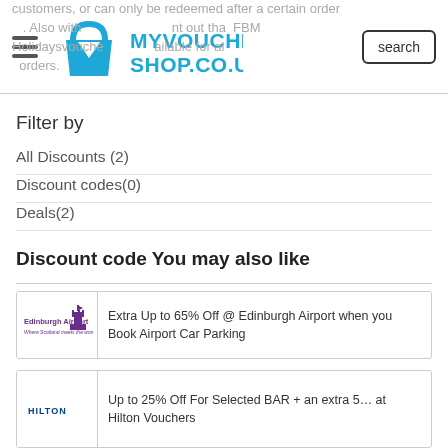customers, or can only be redeemed after a certain order. Also with … out that FBM … Holidaysvoucher … available for all orders.
MYVOUCHERSHOP.CO.UK
Filter by
All Discounts (2)
Discount codes(0)
Deals(2)
Discount code You may also like
Extra Up to 65% Off @ Edinburgh Airport when you Book Airport Car Parking
Up to 25% Off For Selected BAR + an extra 5… at Hilton Vouchers